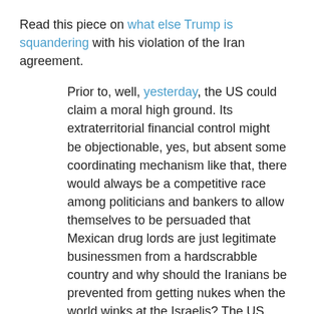Read this piece on what else Trump is squandering with his violation of the Iran agreement.
Prior to, well, yesterday, the US could claim a moral high ground. Its extraterritorial financial control might be objectionable, yes, but absent some coordinating mechanism like that, there would always be a competitive race among politicians and bankers to allow themselves to be persuaded that Mexican drug lords are just legitimate businessmen from a hardscrabble country and why should the Iranians be prevented from getting nukes when the world winks at the Israelis? The US may not be the ideal global financial policeman, but like every other kind of global policeman that it is, it may be better than no policeman at all.
However, now, specifically with respect to its enforcement of financial sanctions on an apparently compliant Iran, it is the United States that seems, even among its Western partners, to